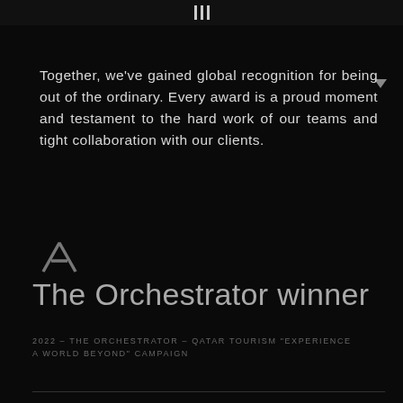|||
Together, we've gained global recognition for being out of the ordinary. Every award is a proud moment and testament to the hard work of our teams and tight collaboration with our clients.
[Figure (logo): Adobe logo — stylized letter A in dark gray]
The Orchestrator winner
2022 – THE ORCHESTRATOR – QATAR TOURISM "EXPERIENCE A WORLD BEYOND" CAMPAIGN